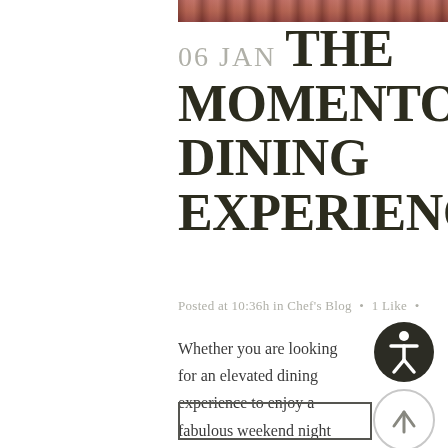[Figure (photo): Partial photo strip at the top of the page showing a dining scene]
06 JAN THE MOMENTO'S DINING EXPERIENCE
Posted at 10:36h in Chef's Blog • 1 Like •
Whether you are looking for an elevated dining experience to enjoy a fabulous weekend night out, or whether you are seeking a delicious yet casual meal for the family, Momento's has the perfect seating opportunity for you....
[Figure (illustration): Accessibility icon button - dark circle with white person/accessibility symbol]
[Figure (illustration): Scroll to top button - light grey circle with upward arrow]
[Figure (other): Read more button outline rectangle at bottom]